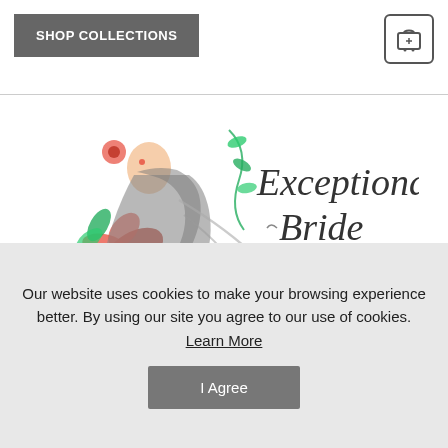SHOP COLLECTIONS
[Figure (logo): Exceptional Bride logo — illustrated woman with flowing hair and floral elements, with text 'Exceptional Bride']
[Figure (other): Search input box with magnifying glass icon]
Need Help? Contact Us: 940-964-2165
Our website uses cookies to make your browsing experience better. By using our site you agree to our use of cookies. Learn More
I Agree